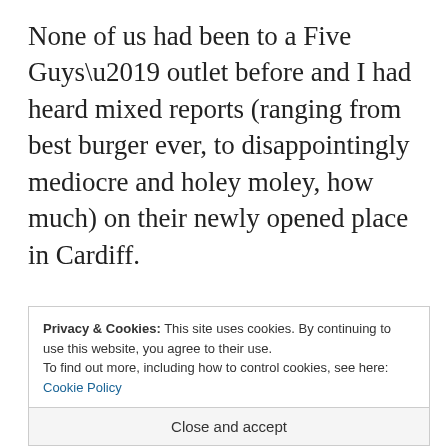None of us had been to a Five Guys’ outlet before and I had heard mixed reports (ranging from best burger ever, to disappointingly mediocre and holey moley, how much) on their newly opened place in Cardiff.

I was interested (with all the Five Guys hype in the local press – Walesonline almost wetting t s C
Privacy & Cookies: This site uses cookies. By continuing to use this website, you agree to their use.
To find out more, including how to control cookies, see here: Cookie Policy
Close and accept